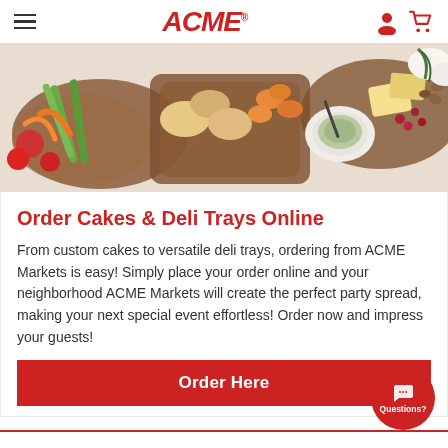ACME
[Figure (photo): Overhead view of charcuterie/deli tray spread with vegetables, cheese, bread, dried fruits, nuts, and dips on wooden boards]
Order Cakes & Deli Trays Online
From custom cakes to versatile deli trays, ordering from ACME Markets is easy! Simply place your order online and your neighborhood ACME Markets will create the perfect party spread, making your next special event effortless! Order now and impress your guests!
Order Here